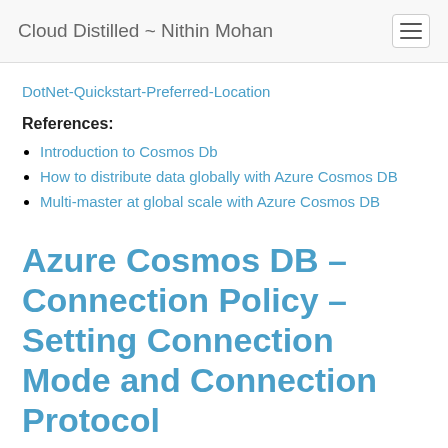Cloud Distilled ~ Nithin Mohan
DotNet-Quickstart-Preferred-Location
References:
Introduction to Cosmos Db
How to distribute data globally with Azure Cosmos DB
Multi-master at global scale with Azure Cosmos DB
Azure Cosmos DB – Connection Policy – Setting Connection Mode and Connection Protocol
May 13, 2018   .NET, Azure, CosmosDB, Microsoft, PaaS, VisualStudio, Windows, Windows Azure Development   No